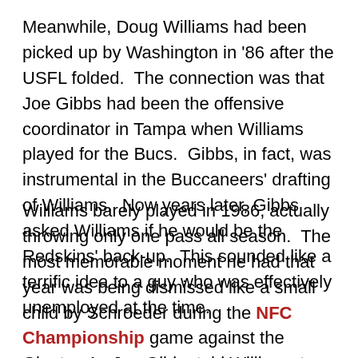Meanwhile, Doug Williams had been picked up by Washington in '86 after the USFL folded. The connection was that Joe Gibbs had been the offensive coordinator in Tampa when Williams played for the Bucs. Gibbs, in fact, was instrumental in the Buccaneers' drafting of Williams. Now years later, Gibbs asked Williams if he would be the Redskins' back-up. This sounded like a terrific idea to a guy who was effectively unemployed at the time.
Williams barely played in 1986, actually throwing only one pass all season. The most memorable moment he had that year was being dismissed like a small child by Schroeder during the NFC Championship game against the Giants. As Joe Gibbs told Williams to get in the game when Schroeder briefly appeared to be injured, Schroeder told all the others on the sideline...